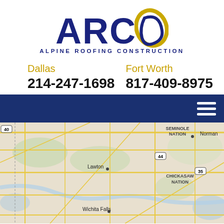[Figure (logo): ARC Alpine Roofing Construction logo with navy blue letters ARC and a gold/blue oval swoosh graphic above text ALPINE ROOFING CONSTRUCTION]
Dallas
214-247-1698
Fort Worth
817-409-8975
[Figure (other): Dark navy blue navigation bar with hamburger menu icon (three white horizontal lines) on the right side]
[Figure (map): Road map showing cities including Norman, Lawton, Wichita Falls, with labels for Seminole Nation, Chickasaw Nation, highways 40, 44, 35]